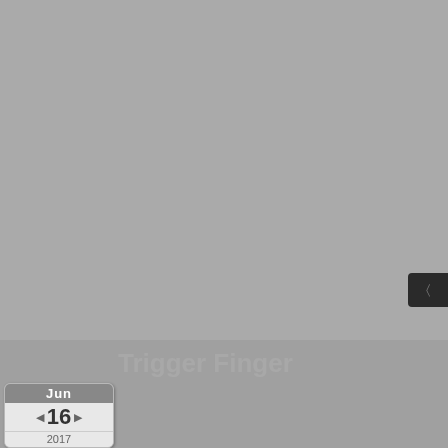[Figure (screenshot): Gray background area occupying the top portion of the page, representing a web page screenshot with a dark button element in the upper right]
Trigger Finger
Jun 16 2017
By Zappit
Timing really is everything.
You can leave comments by clicking here, leave a trackback at http://supervillair...
« Brick by Brick
8 Comments   0 Pings
By Towering Barbarian   Fri Jun 16th, 2017 at 5:01...